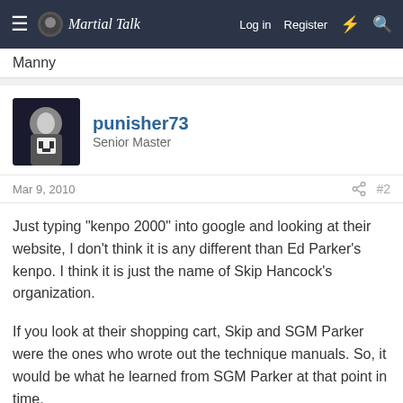Martial Talk — Log in   Register
Manny
punisher73
Senior Master
Mar 9, 2010   #2
Just typing "kenpo 2000" into google and looking at their website, I don't think it is any different than Ed Parker's kenpo. I think it is just the name of Skip Hancock's organization.

If you look at their shopping cart, Skip and SGM Parker were the ones who wrote out the technique manuals. So, it would be what he learned from SGM Parker at that point in time.
Blindside
Grandmaster   Founding Member